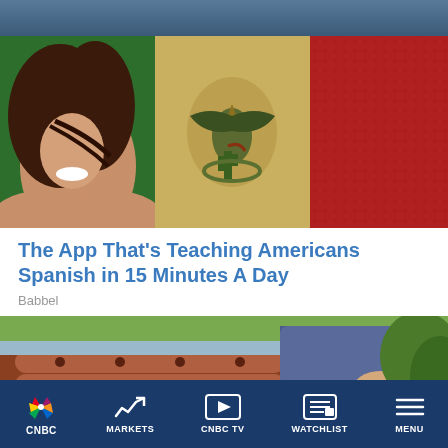CNBC App header bar
[Figure (photo): Woman smiling with hair blowing across face, overlaid with Mexican flag (green, eagle emblem, red sections)]
The App That's Teaching Americans Spanish in 15 Minutes A Day
Babbel
[Figure (photo): Person on a ladder cleaning roof gutters, holding a pen and notepad, with terracotta roof tiles and green foliage in background]
CNBC  MARKETS  CNBC TV  WATCHLIST  MENU